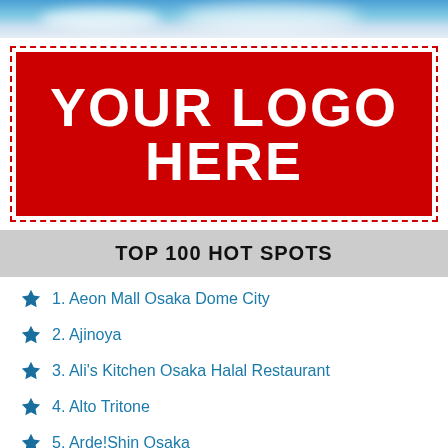[Figure (photo): Sky background with clouds, blue sky banner at top of page]
[Figure (logo): Red banner with white bold text reading YOUR LOGO HERE, surrounded by dashed red border]
TOP 100 HOT SPOTS
1. Aeon Mall Osaka Dome City
2. Ajinoya
3. Ali's Kitchen Osaka Halal Restaurant
4. Alto Tritone
5. Arde!Shin Osaka
6. Ark Hotel Osaka Shinsaibashi